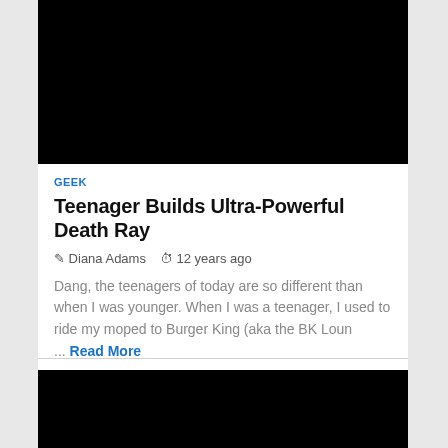[Figure (photo): Black rectangular image placeholder at top of article card]
GEEK
Teenager Builds Ultra-Powerful Death Ray
Diana Adams   12 years ago
Dang, the teenagers of today are so different than when I was younger. When I was a teenager, I used to ride my moped to Burger King (aka the BK Loun ...  Read More
[Figure (photo): Black rectangular image placeholder at bottom of page]